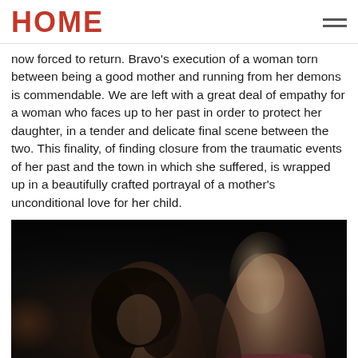HOME
now forced to return. Bravo's execution of a woman torn between being a good mother and running from her demons is commendable. We are left with a great deal of empathy for a woman who faces up to her past in order to protect her daughter, in a tender and delicate final scene between the two. This finality, of finding closure from the traumatic events of her past and the town in which she suffered, is wrapped up in a beautifully crafted portrayal of a mother's unconditional love for her child.
[Figure (photo): Dark dramatic photograph showing two figures — a woman with long wavy hair on the left and a younger figure on the right with visible face in partial light, against a very dark background. The right figure appears to be wearing a pink top.]